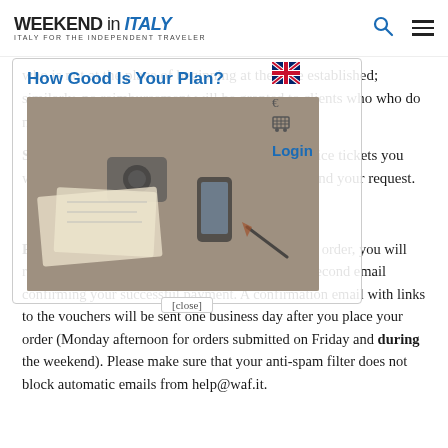WEEKEND in ITALY — ITALY FOR THE INDEPENDENT TRAVELER
who is not at the place of beginning at the time established; similarly, no reimbursement will be granted to clients who who do not complete the course.
Save time ordering: Add all the museum & service tickets you want into your basket, then fill in the form and send your request.
[Figure (photo): Overlay modal popup showing 'How Good Is Your Plan?' link above a photo of travel planning items (camera, maps, phone, pen on a desk). A 'close' button is at the bottom.]
PLEASE NOTE: Immediately after submitting an order, you will receive an email with your order summary plus a second email confirming your successful payment. A confirmation email with links to the vouchers will be sent one business day after you place your order (Monday afternoon for orders submitted on Friday and during the weekend). Please make sure that your anti-spam filter does not block automatic emails from help@waf.it.